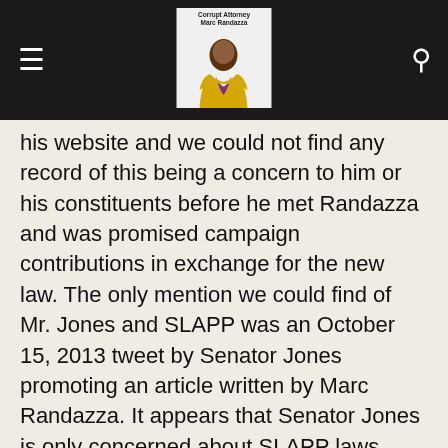Corrupt Attorney Marc Randazza [hamburger menu and search icon]
his website and we could not find any record of this being a concern to him or his constituents before he met Randazza and was promised campaign contributions in exchange for the new law.  The only mention we could find of Mr. Jones and SLAPP was an October 15, 2013 tweet by Senator Jones promoting an article written by Marc Randazza. It appears that Senator Jones is only concerned about SLAPP laws because of his relationship with Mr. Randazza.
It appears Senator Jones and Attorney Randazza may be in an unethical quid pro quo relationship. On May 6, 2013 Senator Jones and Mr. Randazza